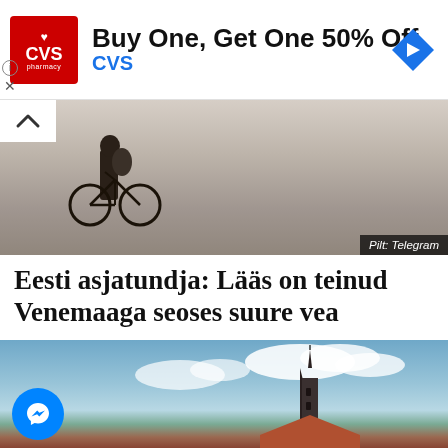[Figure (other): CVS Pharmacy advertisement banner: Buy One, Get One 50% Off CVS, with CVS logo on left and blue diamond navigation arrow on right]
[Figure (photo): Black and white photo of a person standing next to a bicycle near a large sandy hill or rock face. Caption reads: Pilt: Telegram]
Eesti asjatundja: Lääs on teinud Venemaaga seoses suure vea
[Figure (photo): Color photo of a church steeple/tower against a blue cloudy sky, with orange/red rooftop visible. A Facebook Messenger button overlay is visible on the lower left.]